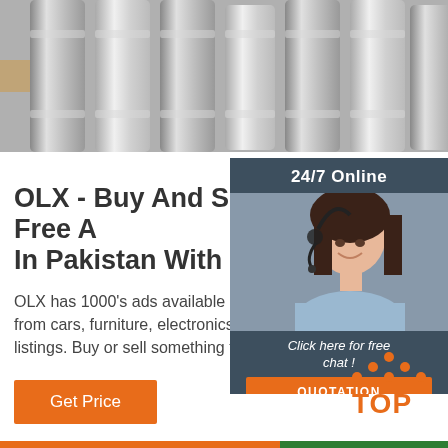[Figure (photo): Top banner photo of shiny chrome/metal industrial cylinders and parts in a workshop setting]
OLX - Buy And Sell For Free A... In Pakistan With OLX ...
OLX has 1000's ads available in Pakistan of from cars, furniture, electronics to jobs and s... listings. Buy or sell something today!
Get Price
[Figure (infographic): Sidebar advertisement with '24/7 Online' header, woman with headset photo, 'Click here for free chat!' text, and orange QUOTATION button]
[Figure (logo): Orange TOP logo with dots arranged in triangle above the letters TOP in orange]